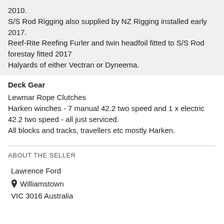2010.
S/S Rod Rigging also supplied by NZ Rigging installed early 2017.
Reef-Rite Reefing Furler and twin headfoil fitted to S/S Rod forestay fitted 2017
Halyards of either Vectran or Dyneema.
Deck Gear
Lewmar Rope Clutches
Harken winches - 7 manual 42.2 two speed and 1 x electric 42.2 two speed - all just serviced.
All blocks and tracks, travellers etc mostly Harken.
ABOUT THE SELLER
Lawrence Ford
Williamstown
VIC 3016 Australia